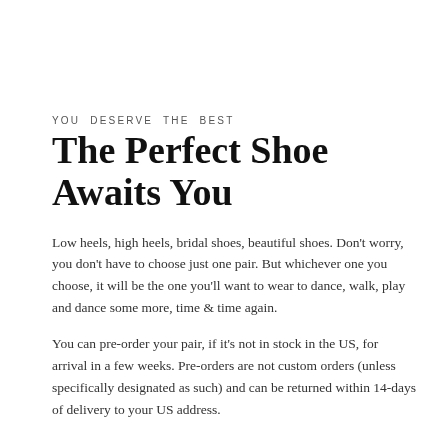YOU DESERVE THE BEST
The Perfect Shoe Awaits You
Low heels, high heels, bridal shoes, beautiful shoes. Don't worry, you don't have to choose just one pair. But whichever one you choose, it will be the one you'll want to wear to dance, walk, play and dance some more, time & time again.
You can pre-order your pair, if it's not in stock in the US, for arrival in a few weeks. Pre-orders are not custom orders (unless specifically designated as such) and can be returned within 14-days of delivery to your US address.